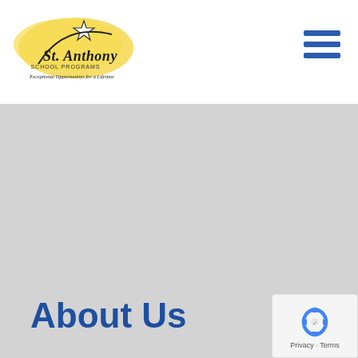[Figure (logo): St. Anthony School Programs logo with yellow brushstroke background, star, and cursive text reading 'St. Anthony SCHOOL PROGRAMS Exceptional Opportunities for a Lifetime']
[Figure (other): Hamburger menu icon with three blue horizontal bars]
[Figure (photo): Large light gray background section (likely a hero image placeholder)]
About Us
[Figure (other): reCAPTCHA badge with recycling arrow icon and 'Privacy - Terms' text]